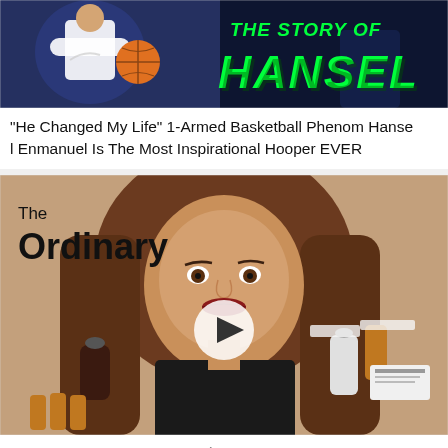[Figure (screenshot): Thumbnail image showing a basketball player with green text 'THE STORY OF HANSEL' on dark background]
“He Changed My Life” 1-Armed Basketball Phenom Hansel Enmanuel Is The Most Inspirational Hooper EVER
[Figure (screenshot): Thumbnail of a woman holding 'The Ordinary' skincare products with a play button overlay]
The Ordinary Review| Δουλεύουν τα The Ordinary??| Polinasbeauty